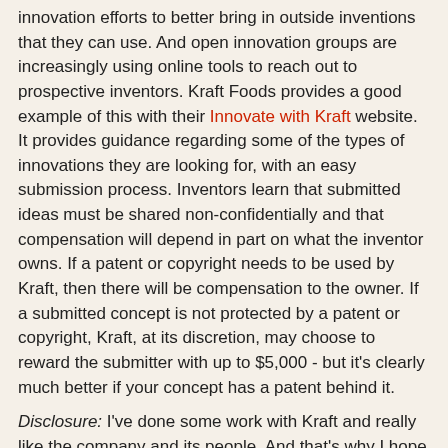innovation efforts to better bring in outside inventions that they can use. And open innovation groups are increasingly using online tools to reach out to prospective inventors. Kraft Foods provides a good example of this with their Innovate with Kraft website. It provides guidance regarding some of the types of innovations they are looking for, with an easy submission process. Inventors learn that submitted ideas must be shared non-confidentially and that compensation will depend in part on what the inventor owns. If a patent or copyright needs to be used by Kraft, then there will be compensation to the owner. If a submitted concept is not protected by a patent or copyright, Kraft, at its discretion, may choose to reward the submitter with up to $5,000 - but it's clearly much better if your concept has a patent behind it.
Disclosure: I've done some work with Kraft and really like the company and its people. And that's why I hope you'll use their Innovate with Kraft site.
Jeff Lindsay at 10:50 AM    1 comment:
Share